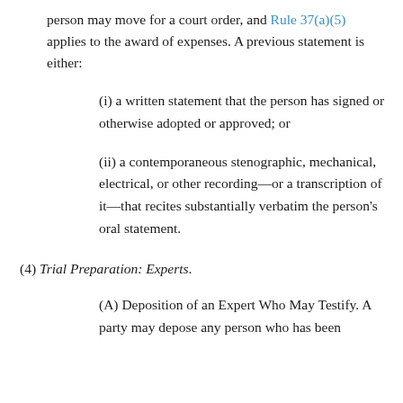person may move for a court order, and Rule 37(a)(5) applies to the award of expenses. A previous statement is either:
(i) a written statement that the person has signed or otherwise adopted or approved; or
(ii) a contemporaneous stenographic, mechanical, electrical, or other recording—or a transcription of it—that recites substantially verbatim the person's oral statement.
(4) Trial Preparation: Experts.
(A) Deposition of an Expert Who May Testify. A party may depose any person who has been